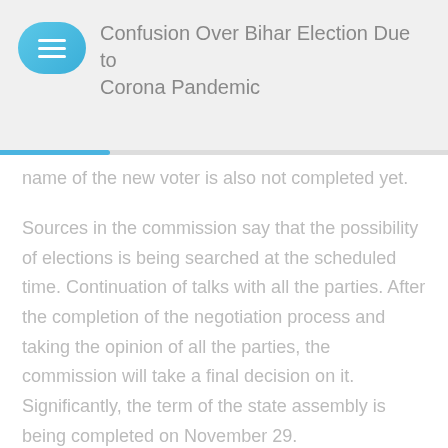Confusion Over Bihar Election Due to Corona Pandemic
name of the new voter is also not completed yet.
Sources in the commission say that the possibility of elections is being searched at the scheduled time. Continuation of talks with all the parties. After the completion of the negotiation process and taking the opinion of all the parties, the commission will take a final decision on it. Significantly, the term of the state assembly is being completed on November 29.
According to Supreme Court advocate Imran